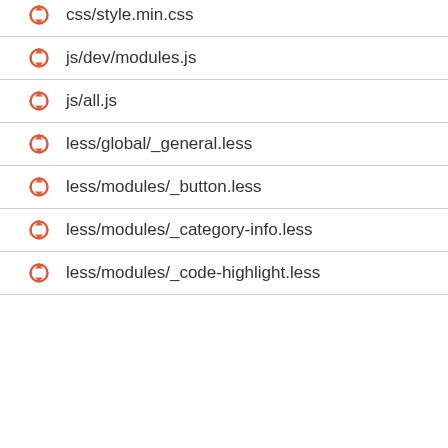css/style.min.css
js/dev/modules.js
js/all.js
less/global/_general.less
less/modules/_button.less
less/modules/_category-info.less
less/modules/_code-highlight.less